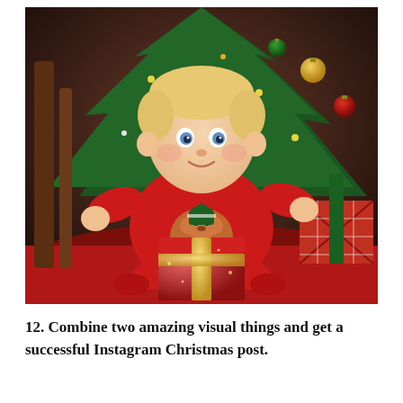[Figure (photo): A smiling baby wearing a red Moschino onesie with a teddy bear graphic, sitting in front of a Christmas tree decorated with ornaments and lights, with red and plaid wrapped gifts around the baby.]
12. Combine two amazing visual things and get a successful Instagram Christmas post.